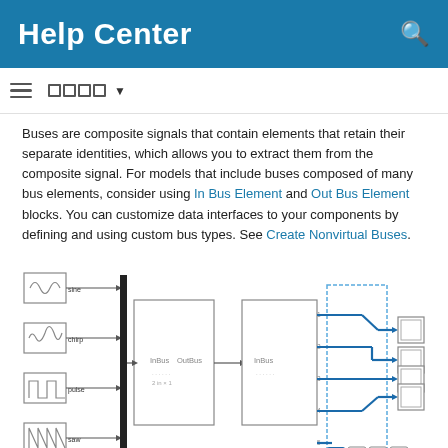Help Center
Buses are composite signals that contain elements that retain their separate identities, which allows you to extract them from the composite signal. For models that include buses composed of many bus elements, consider using In Bus Element and Out Bus Element blocks. You can customize data interfaces to your components by defining and using custom bus types. See Create Nonvirtual Buses.
[Figure (schematic): Simulink block diagram showing signal sources (sine, chirp, pulse, saw) feeding into a Bus Creator block (InBus/OutBus), connected to a subsystem block (InBus), whose outputs feed into individual Out Bus Element blocks. A 'Create Bus' tooltip is visible at bottom right.]
You can configure your components to call services, such as memory and input/output services, from other components or